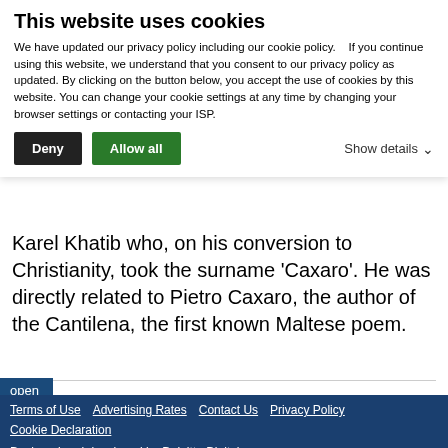This website uses cookies
We have updated our privacy policy including our cookie policy.    If you continue using this website, we understand that you consent to our privacy policy as updated. By clicking on the button below, you accept the use of cookies by this website. You can change your cookie settings at any time by changing your browser settings or contacting your ISP.
Karel Khatib who, on his conversion to Christianity, took the surname 'Caxaro'. He was directly related to Pietro Caxaro, the author of the Cantilena, the first known Maltese poem.
open
Terms of Use    Advertising Rates    Contact Us    Privacy Policy    Cookie Declaration
Designed and developed by Deloitte Digital
Independent Online. ©2022. Standard Publications Ltd. Registered Office: Standard House, Birkirkara Hill, St. Julian's, STJ 1149, Malta.